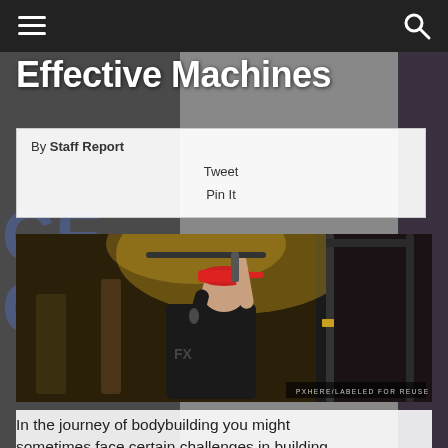navigation bar with hamburger menu and search icon
Effective Machines
By Staff Report
Tweet
Pin It
[Figure (photo): Man in red cap and black shirt using a cable pull-down machine in a gym. Various gym equipment visible in background with warm amber lighting. Credit: PXHERE/LABELED FOR REUSE]
In the journey of bodybuilding you might sometimes face certain challenges in building